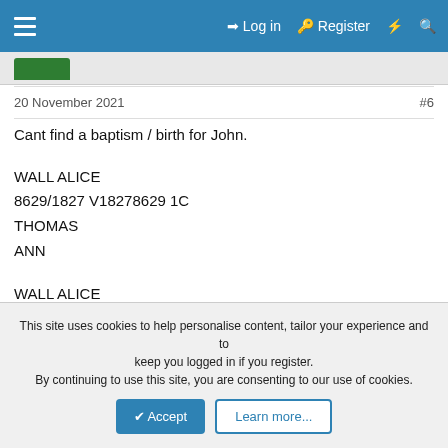≡  Log in   Register   ⚡   🔍
20 November 2021	#6
Cant find a baptism / birth for John.

WALL ALICE
8629/1827 V18278629 1C
THOMAS
ANN

WALL ALICE
510/1827 V1827510 12
THOMAS
ANNE
This site uses cookies to help personalise content, tailor your experience and to keep you logged in if you register.
By continuing to use this site, you are consenting to our use of cookies.